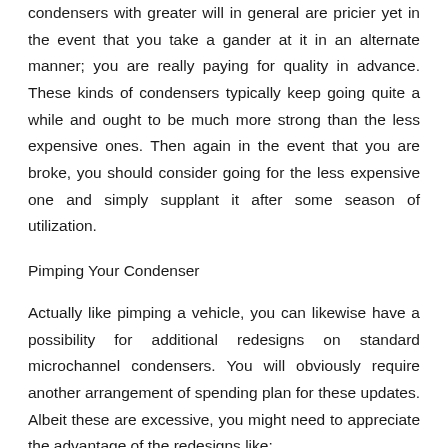condensers with greater will in general are pricier yet in the event that you take a gander at it in an alternate manner; you are really paying for quality in advance. These kinds of condensers typically keep going quite a while and ought to be much more strong than the less expensive ones. Then again in the event that you are broke, you should consider going for the less expensive one and simply supplant it after some season of utilization.
Pimping Your Condenser
Actually like pimping a vehicle, you can likewise have a possibility for additional redesigns on standard microchannel condensers. You will obviously require another arrangement of spending plan for these updates. Albeit these are excessive, you might need to appreciate the advantage of the redesigns like: